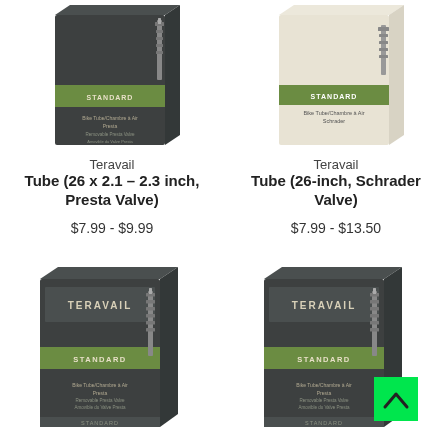[Figure (photo): Teravail bike tube box - dark grey with green stripe, Presta valve, Standard, 26x2.1-2.3 inch]
Teravail
Tube (26 x 2.1 – 2.3 inch, Presta Valve)
$7.99 - $9.99
[Figure (photo): Teravail bike tube box - light beige/cream color, Schrader valve, Standard, 26-inch]
Teravail
Tube (26-inch, Schrader Valve)
$7.99 - $13.50
[Figure (photo): Teravail bike tube box - dark grey with green stripe, STANDARD label, Presta valve]
[Figure (photo): Teravail bike tube box - dark grey with green stripe, STANDARD label, Presta valve, with green scroll-to-top button overlay]